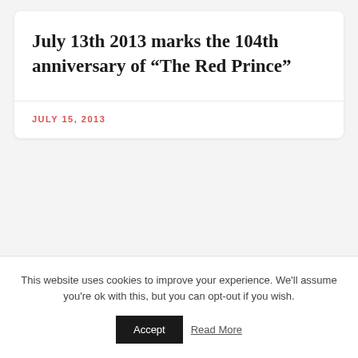July 13th 2013 marks the 104th anniversary of “The Red Prince”
JULY 15, 2013
This website uses cookies to improve your experience. We'll assume you're ok with this, but you can opt-out if you wish.